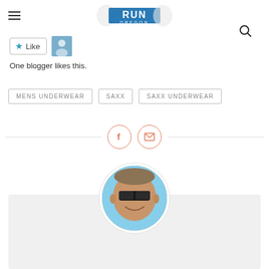Run Oregon
[Figure (logo): Run Oregon logo with running figure and blue text]
Like
One blogger likes this.
MENS UNDERWEAR
SAXX
SAXX UNDERWEAR
[Figure (infographic): Facebook and email share icons with horizontal divider lines]
[Figure (photo): Circular profile photo of a smiling man wearing sunglasses outdoors]